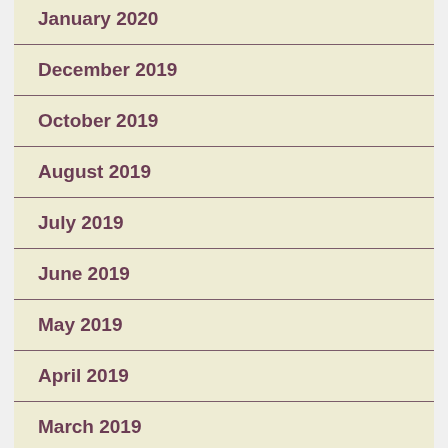January 2020
December 2019
October 2019
August 2019
July 2019
June 2019
May 2019
April 2019
March 2019
February 2019